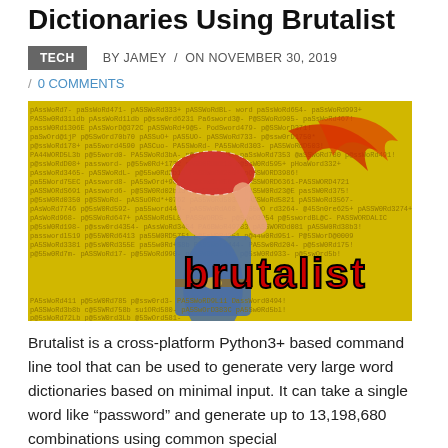Dictionaries Using Brutalist
TECH  BY JAMEY  /  ON NOVEMBER 30, 2019
/ 0 COMMENTS
[Figure (photo): Rosie the Riveter style image overlaid with password text in yellow and red 'brutalist' lettering]
Brutalist is a cross-platform Python3+ based command line tool that can be used to generate very large word dictionaries based on minimal input. It can take a single word like “password” and generate up to 13,198,680 combinations using common special